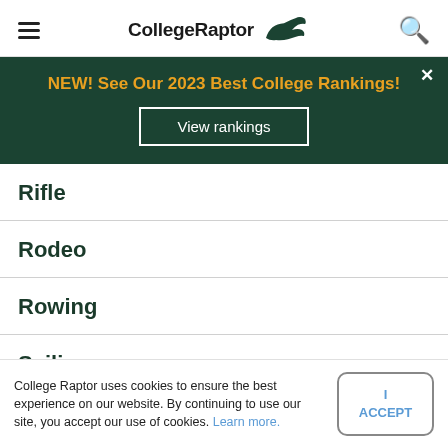CollegeRaptor
NEW! See Our 2023 Best College Rankings!
View rankings
Rifle
Rodeo
Rowing
Sailing
Skiing
College Raptor uses cookies to ensure the best experience on our website. By continuing to use our site, you accept our use of cookies. Learn more.
I ACCEPT